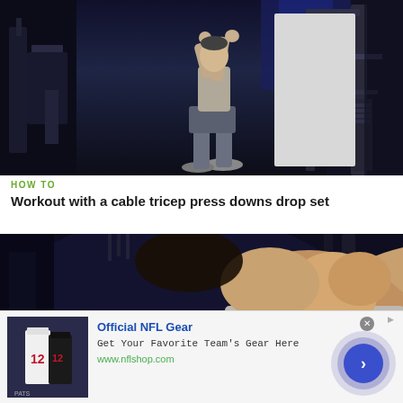[Figure (photo): Man working out on cable machine doing tricep press downs in a gym setting. Dark gym background with blue lighting. Person wearing gray tank top and shorts.]
HOW TO
Workout with a cable tricep press downs drop set
[Figure (photo): Close-up of person performing a workout exercise, dark blue gym background, person leaning back with arms raised.]
[Figure (infographic): Advertisement banner: Official NFL Gear - Get Your Favorite Team's Gear Here - www.nflshop.com. Shows NFL jerseys/shirts on left, navigation arrow button on right.]